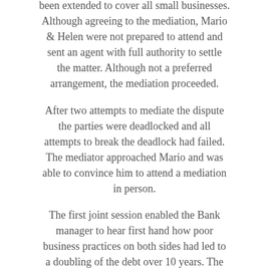been extended to cover all small businesses. Although agreeing to the mediation, Mario & Helen were not prepared to attend and sent an agent with full authority to settle the matter. Although not a preferred arrangement, the mediation proceeded.
After two attempts to mediate the dispute the parties were deadlocked and all attempts to break the deadlock had failed. The mediator approached Mario and was able to convince him to attend a mediation in person.
The first joint session enabled the Bank manager to hear first hand how poor business practices on both sides had led to a doubling of the debt over 10 years. The